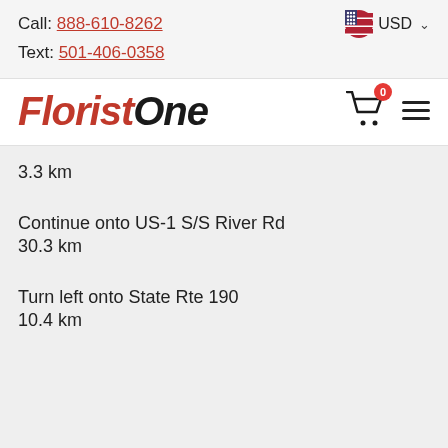Call: 888-610-8262
Text: 501-406-0358
USD
FloristOne
3.3 km
Continue onto US-1 S/S River Rd
30.3 km
Turn left onto State Rte 190
10.4 km